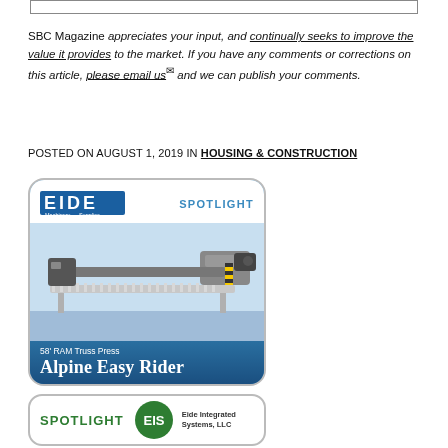SBC Magazine appreciates your input, and continually seeks to improve the value it provides to the market. If you have any comments or corrections on this article, please email us and we can publish your comments.
POSTED ON AUGUST 1, 2019 IN HOUSING & CONSTRUCTION
[Figure (illustration): Eide Machinery advertisement spotlight showing Alpine Easy Rider 58' RAM Truss Press industrial machine on a blue background with EIDE logo and SPOTLIGHT text]
[Figure (illustration): Eide Integrated Systems LLC advertisement spotlight with green EIS logo on white background with SPOTLIGHT text in green]